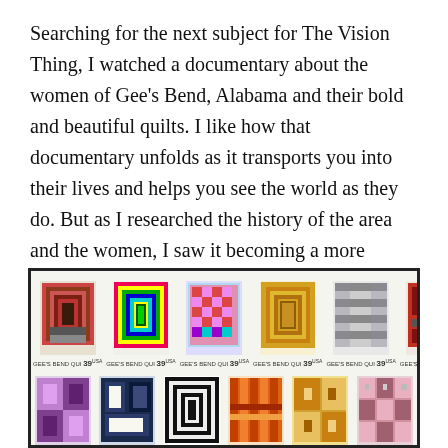Searching for the next subject for The Vision Thing, I watched a documentary about the women of Gee's Bend, Alabama and their bold and beautiful quilts. I like how that documentary unfolds as it transports you into their lives and helps you see the world as they do. But as I researched the history of the area and the women, I saw it becoming a more complicated story.
[Figure (photo): A sheet of US postage stamps featuring quilts from Gee's Bend, Alabama. Two rows of six stamps each showing colorful quilt patterns, each stamp labeled 39 cents.]